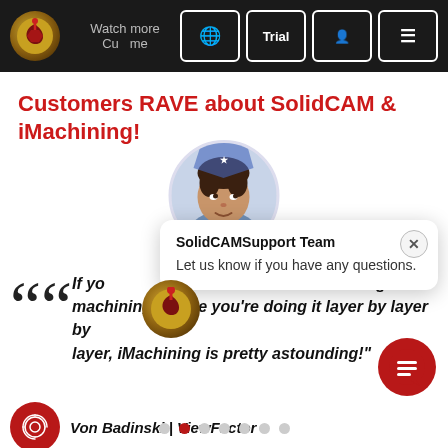Watch more Customers | Trial | [globe] [user] [menu]
Customers RAVE about SolidCAM & iMachining!
[Figure (photo): Circular cropped photo of a man looking upward, wearing a light blue shirt, with a blue and white circular badge/logo at top]
[Figure (screenshot): Chat popup overlay with SolidCAMSupport Team header: 'Let us know if you have any questions.' with a close (X) button]
“If you're comparing traditional machining, where you're doing it layer by layer by layer, iMachining is pretty astounding!”
Von Badinski | ViewFactor